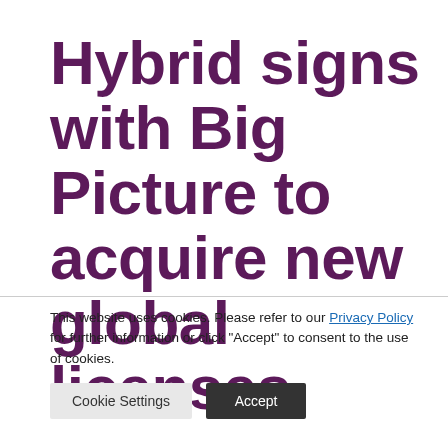Hybrid signs with Big Picture to acquire new global licenses
This website uses cookies. Please refer to our Privacy Policy for further information or click "Accept" to consent to the use of cookies.
Cookie Settings | Accept